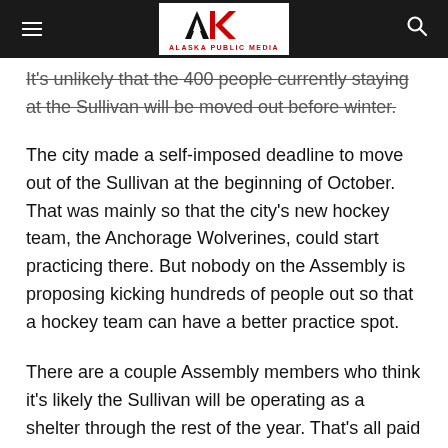Alaska Public Media
It's unlikely that the 400 people currently staying at the Sullivan will be moved out before winter.
The city made a self-imposed deadline to move out of the Sullivan at the beginning of October. That was mainly so that the city's new hockey team, the Anchorage Wolverines, could start practicing there. But nobody on the Assembly is proposing kicking hundreds of people out so that a hockey team can have a better practice spot.
There are a couple Assembly members who think it's likely the Sullivan will be operating as a shelter through the rest of the year. That's all paid for with federal emergency funds. Those are available until 6 months after the federal emergency declaration ends.